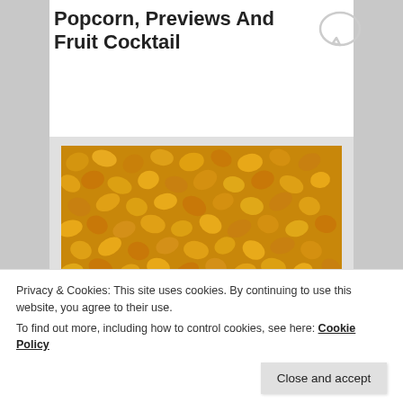Popcorn, Previews And Fruit Cocktail
Posted on February 3, 2014
[Figure (photo): Close-up photograph of many unpopped popcorn kernels, golden/yellow in color, filling the entire frame.]
Privacy & Cookies: This site uses cookies. By continuing to use this website, you agree to their use.
To find out more, including how to control cookies, see here: Cookie Policy